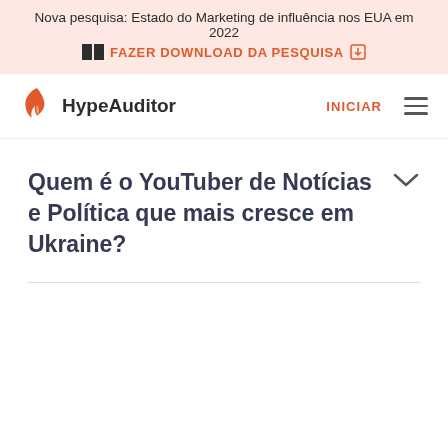Nova pesquisa: Estado do Marketing de influência nos EUA em 2022
FAZER DOWNLOAD DA PESQUISA
HypeAuditor   INICIAR
Quem é o YouTuber de Notícias e Política que mais cresce em Ukraine?